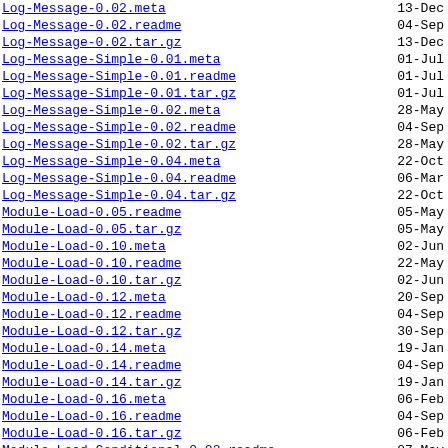Log-Message-0.02.meta  13-Dec
Log-Message-0.02.readme  04-Sep
Log-Message-0.02.tar.gz  13-Dec
Log-Message-Simple-0.01.meta  01-Jul
Log-Message-Simple-0.01.readme  01-Jul
Log-Message-Simple-0.01.tar.gz  01-Jul
Log-Message-Simple-0.02.meta  28-May
Log-Message-Simple-0.02.readme  04-Sep
Log-Message-Simple-0.02.tar.gz  28-May
Log-Message-Simple-0.04.meta  22-Oct
Log-Message-Simple-0.04.readme  06-Mar
Log-Message-Simple-0.04.tar.gz  22-Oct
Module-Load-0.05.readme  05-May
Module-Load-0.05.tar.gz  05-May
Module-Load-0.10.meta  02-Jun
Module-Load-0.10.readme  22-May
Module-Load-0.10.tar.gz  02-Jun
Module-Load-0.12.meta  20-Sep
Module-Load-0.12.readme  04-Sep
Module-Load-0.12.tar.gz  30-Sep
Module-Load-0.14.meta  19-Jan
Module-Load-0.14.readme  04-Sep
Module-Load-0.14.tar.gz  19-Jan
Module-Load-0.16.meta  06-Feb
Module-Load-0.16.readme  04-Sep
Module-Load-0.16.tar.gz  06-Feb
Module-Load-Conditional-0.02.readme  07-May
Module-Load-Conditional-0.02.tar.gz  10-May
Module-Load-Conditional-0.03.readme  31-May
Module-Load-Conditional-0.03.tar.gz  31-May